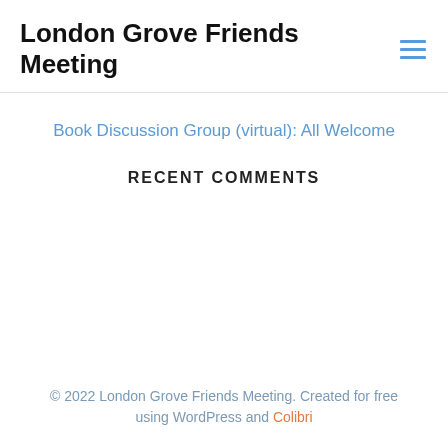London Grove Friends Meeting
Book Discussion Group (virtual): All Welcome
RECENT COMMENTS
© 2022 London Grove Friends Meeting. Created for free using WordPress and Colibri